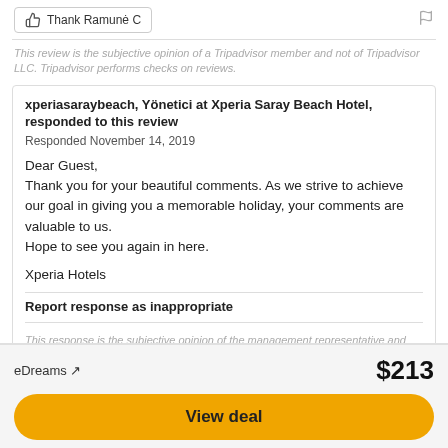Thank Ramune C
This review is the subjective opinion of a Tripadvisor member and not of Tripadvisor LLC. Tripadvisor performs checks on reviews.
xperiasaraybeach, Yönetici at Xperia Saray Beach Hotel, responded to this review
Responded November 14, 2019

Dear Guest,
Thank you for your beautiful comments. As we strive to achieve our goal in giving you a memorable holiday, your comments are valuable to us.
Hope to see you again in here.

Xperia Hotels
Report response as inappropriate
This response is the subjective opinion of the management representative and not of TripAdvisor LLC.
eDreams ↗
$213
View deal